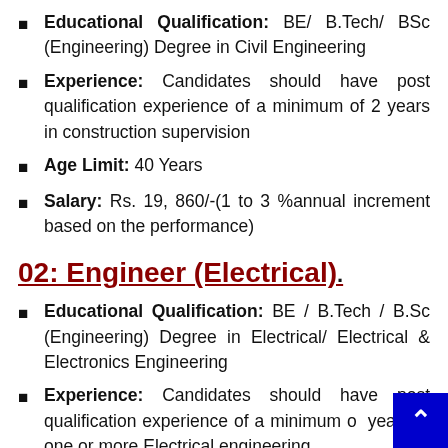Educational Qualification: BE/ B.Tech/ BSc (Engineering) Degree in Civil Engineering
Experience: Candidates should have post qualification experience of a minimum of 2 years in construction supervision
Age Limit: 40 Years
Salary: Rs. 19,860/-(1 to 3 %annual increment based on the performance)
02: Engineer (Electrical)
Educational Qualification: BE / B.Tech / B.Sc (Engineering) Degree in Electrical/ Electrical & Electronics Engineering
Experience: Candidates should have post qualification experience of a minimum of years in one or more Electrical engineering